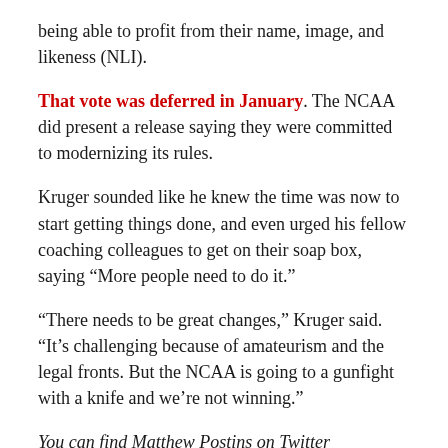being able to profit from their name, image, and likeness (NLI).
That vote was deferred in January. The NCAA did present a release saying they were committed to modernizing its rules.
Kruger sounded like he knew the time was now to start getting things done, and even urged his fellow coaching colleagues to get on their soap box, saying “More people need to do it.”
“There needs to be great changes,” Kruger said. “It’s challenging because of amateurism and the legal fronts. But the NCAA is going to a gunfight with a knife and we’re not winning.”
You can find Matthew Postins on Twitter @PostinsPostcard.